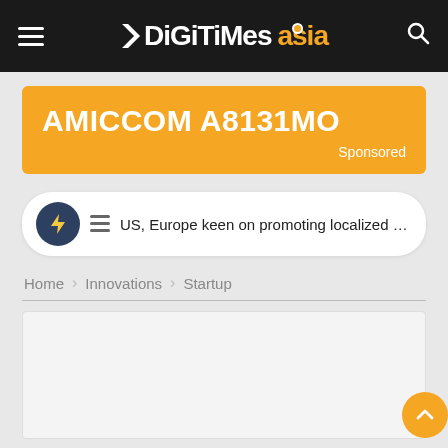DIGITIMES asia
[Figure (infographic): Sponsored advertisement banner with orange background showing AMICCOM A8131MO with Sponsored label]
US, Europe keen on promoting localized E...
Home > Innovations > Startup
[Figure (other): Empty content placeholder box — article image loading area]